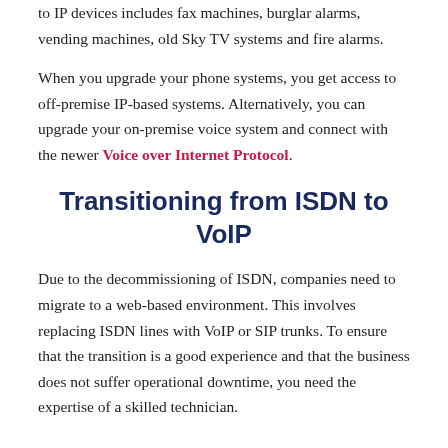to IP devices includes fax machines, burglar alarms, vending machines, old Sky TV systems and fire alarms.
When you upgrade your phone systems, you get access to off-premise IP-based systems. Alternatively, you can upgrade your on-premise voice system and connect with the newer Voice over Internet Protocol.
Transitioning from ISDN to VoIP
Due to the decommissioning of ISDN, companies need to migrate to a web-based environment. This involves replacing ISDN lines with VoIP or SIP trunks. To ensure that the transition is a good experience and that the business does not suffer operational downtime, you need the expertise of a skilled technician.